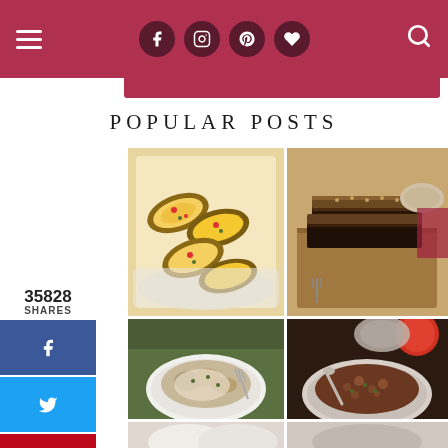Navigation header with hamburger menu, social icons (Facebook, Instagram, Pinterest, Heart), and search icon on dark red/crimson background
POPULAR POSTS
35828
SHARES
[Figure (photo): Stuffed baked potato halves with egg and vegetable filling in a white baking dish]
[Figure (photo): Stacked chocolate and caramel brownie bars on a wooden cutting board]
[Figure (photo): Mushroom dish with cream sauce served with a fork on green background]
[Figure (photo): Bowl of ground meat with lentils and vegetables, tomato in background]
[Figure (photo): Partial bottom row images partially visible]